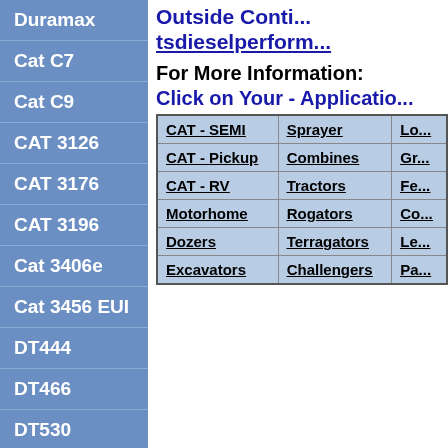Duramax
Cat C7
Cat C9
CAT 3126
CAT 3176
CAT 3196
Cat 3406e
Cat 3456 EUI
DT444
DT466
DT530
Outside Contr... tsdieselperform...
For More Information:
Click on Your - Applicatio...
| Col1 | Col2 | Col3 |
| --- | --- | --- |
| CAT - SEMI | Sprayer | Lo... |
| CAT - Pickup | Combines | Gr... |
| CAT - RV | Tractors | Fe... |
| Motorhome | Rogators | Co... |
| Dozers | Terragators | Le... |
| Excavators | Challengers | Pa... |